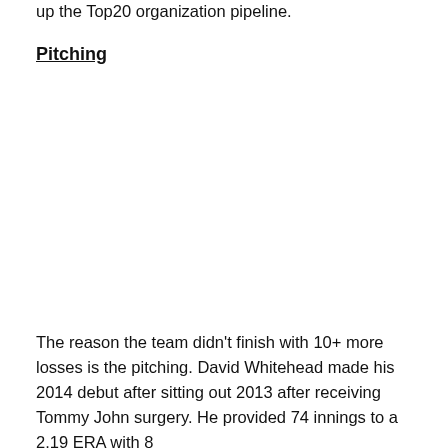up the Top20 organization pipeline.
Pitching
The reason the team didn't finish with 10+ more losses is the pitching. David Whitehead made his 2014 debut after sitting out 2013 after receiving Tommy John surgery. He provided 74 innings to a 2.19 ERA with 8